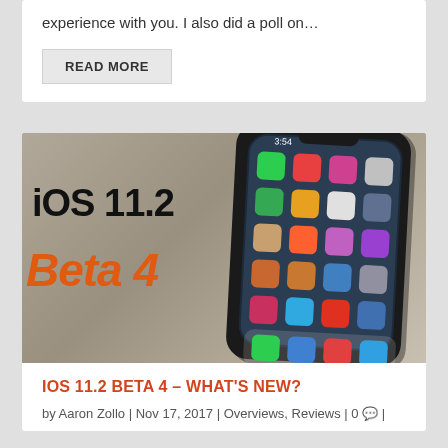experience with you. I also did a poll on…
READ MORE
[Figure (photo): Photo of an iPhone X displaying its home screen with app icons, placed against a concrete/stone background next to text reading 'iOS 11.2 Beta 4' in black and orange italic lettering.]
IOS 11.2 BETA 4 – WHAT'S NEW?
by Aaron Zollo | Nov 17, 2017 | Overviews, Reviews | 0 |